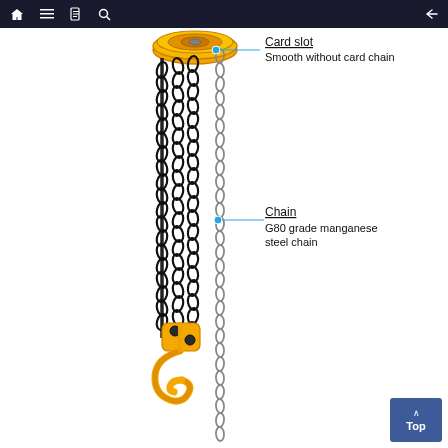Navigation bar with home, menu, document, search, and back icons
[Figure (engineering-diagram): A chain hoist (chain block) showing an orange top hook/housing at the top with chains hanging down — multiple black load chains and one silver hand-operated chain — finishing with an orange bottom hook. Callout annotations identify 'Card slot / Smooth without card chain' pointing to the top pulley area, and 'Chain / G80 grade manganese steel chain' pointing to the chains mid-way down.]
Card slot
Smooth without card chain
Chain
G80 grade manganese steel chain